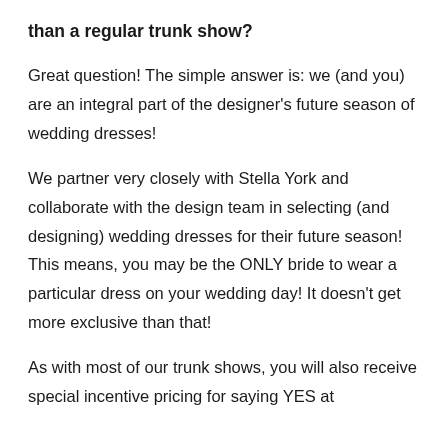than a regular trunk show?
Great question! The simple answer is: we (and you) are an integral part of the designer's future season of wedding dresses!
We partner very closely with Stella York and collaborate with the design team in selecting (and designing) wedding dresses for their future season! This means, you may be the ONLY bride to wear a particular dress on your wedding day! It doesn't get more exclusive than that!
As with most of our trunk shows, you will also receive special incentive pricing for saying YES at